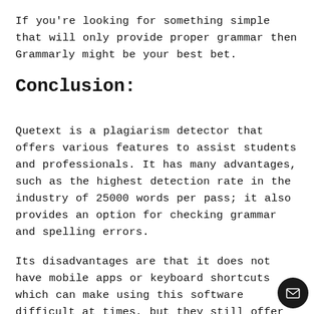If you're looking for something simple that will only provide proper grammar then Grammarly might be your best bet.
Conclusion:
Quetext is a plagiarism detector that offers various features to assist students and professionals. It has many advantages, such as the highest detection rate in the industry of 25000 words per pass; it also provides an option for checking grammar and spelling errors.
Its disadvantages are that it does not have mobile apps or keyboard shortcuts which can make using this software difficult at times, but they still offer 24/hour customer support on email and telephone. I would highly recommend QueText to anyone looking